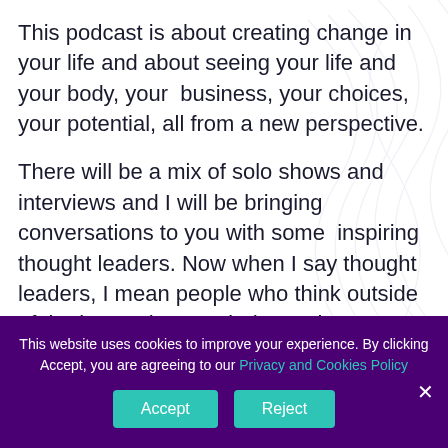This podcast is about creating change in your life and about seeing your life and your body, your business, your choices, your potential, all from a new perspective.
There will be a mix of solo shows and interviews and I will be bringing conversations to you with some inspiring thought leaders. Now when I say thought leaders, I mean people who think outside of the box, whatever industry they may be in
This website uses cookies to improve your experience. By clicking Accept, you are agreeing to our Privacy and Cookies Policy